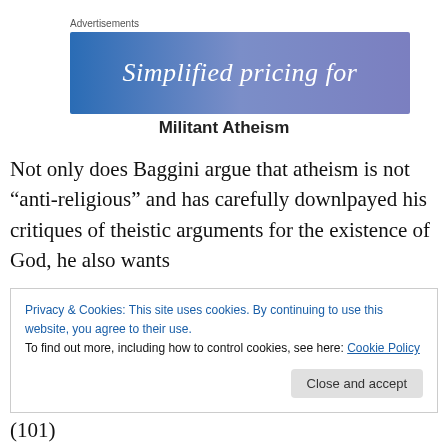[Figure (other): Advertisement banner with gradient blue/purple background reading 'Simplified pricing for' in white italic serif text, with label 'Advertisements' above]
Militant Atheism
Not only does Baggini argue that atheism is not “anti-religious” and has carefully downlpayed his critiques of theistic arguments for the existence of God, he also wants
Privacy & Cookies: This site uses cookies. By continuing to use this website, you agree to their use.
To find out more, including how to control cookies, see here: Cookie Policy
Close and accept
(101)